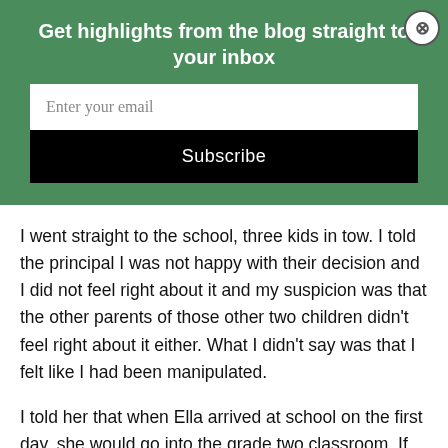Get highlights from the blog straight to your inbox
Enter your email
Subscribe
I went straight to the school, three kids in tow. I told the principal I was not happy with their decision and I did not feel right about it and my suspicion was that the other parents of those other two children didn't feel right about it either. What I didn't say was that I felt like I had been manipulated.
I told her that when Ella arrived at school on the first day, she would go into the grade two classroom. If that meant pulling her out for language art to be with children of the same ability, great, but she would be on the grade two roster. Period. I told her